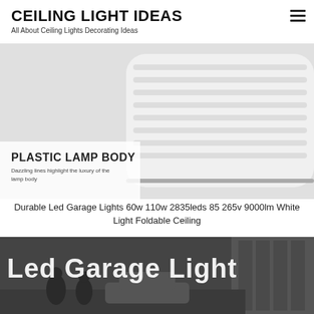CEILING LIGHT IDEAS
All About Ceiling Lights Decorating Ideas
[Figure (photo): Close-up product photo of a white plastic lamp body with ribbed/grooved surface. Text overlay reads 'PLASTIC LAMP BODY' with subtitle 'Dazzling lines highlight the luxury of the lamp body'.]
Durable Led Garage Lights 60w 110w 2835leds 85 265v 9000lm White Light Foldable Ceiling
[Figure (photo): Black and white photo of a garage interior with text overlay 'Led Garage Light' in large white bold letters. People and cars visible in background.]